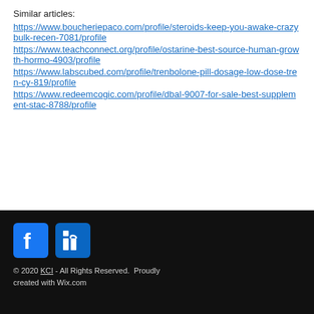Similar articles:
https://www.boucheriepaco.com/profile/steroids-keep-you-awake-crazybulk-recen-7081/profile
https://www.teachconnect.org/profile/ostarine-best-source-human-growth-hormo-4903/profile
https://www.labscubed.com/profile/trenbolone-pill-dosage-low-dose-tren-cy-819/profile
https://www.redeemcogic.com/profile/dbal-9007-for-sale-best-supplement-stac-8788/profile
© 2020 KCI - All Rights Reserved. Proudly created with Wix.com